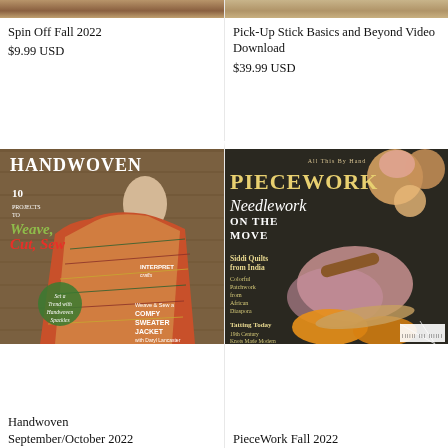[Figure (photo): Partial image of Spin Off Fall 2022 magazine cover, cropped to show only a thin strip at the top]
Spin Off Fall 2022
$9.99 USD
[Figure (photo): Partial image of Pick-Up Stick Basics and Beyond Video Download product, showing a rope/fiber texture]
Pick-Up Stick Basics and Beyond Video Download
$39.99 USD
[Figure (photo): Cover of Handwoven September/October 2022 magazine showing a woman in a colorful woven coat/jacket with text '10 Projects to Weave, Cut, Sew']
Handwoven September/October 2022
[Figure (photo): Cover of PieceWork Fall 2022 magazine showing tatted lace pieces, yarn balls, and needlework on dark background with title 'All This By Hand PieceWork Needlework On The Move']
PieceWork Fall 2022